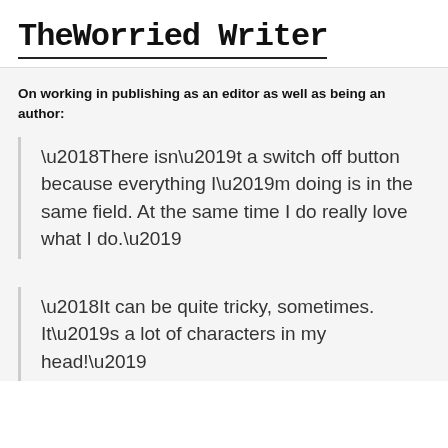TheWorriedWriter
On working in publishing as an editor as well as being an author:
‘There isn’t a switch off button because everything I’m doing is in the same field. At the same time I do really love what I do.’
‘It can be quite tricky, sometimes. It’s a lot of characters in my head!’